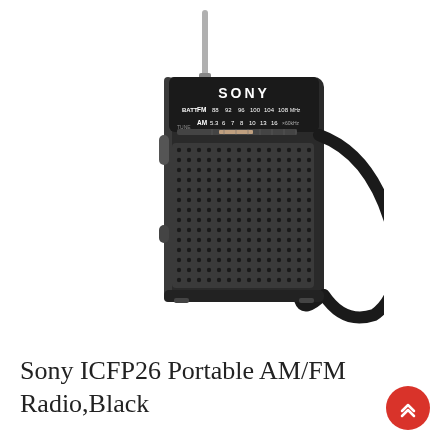[Figure (photo): Sony ICFP26 portable AM/FM radio in black color, shown from the front with antenna extended upward to the left, carry strap attached on the right side hanging down, speaker grille visible on front, tuning dial at top showing FM 88-108 MHz and AM 5.3-16 kHz scales, SONY branding on top.]
Sony ICFP26 Portable AM/FM Radio,Black